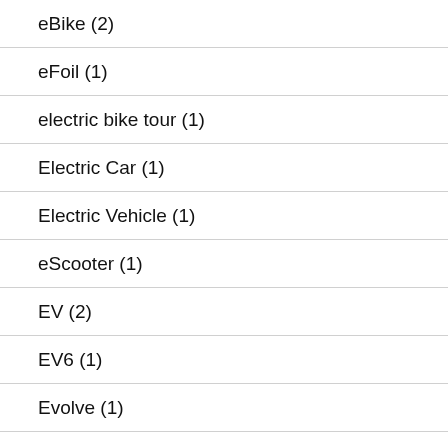eBike (2)
eFoil (1)
electric bike tour (1)
Electric Car (1)
Electric Vehicle (1)
eScooter (1)
EV (2)
EV6 (1)
Evolve (1)
EVSE (1)
Flux Mopeds (1)